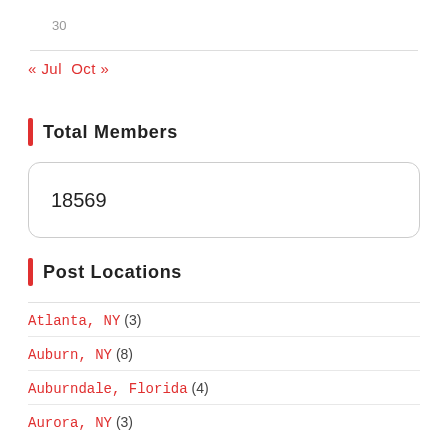30
« Jul  Oct »
Total Members
18569
Post Locations
Atlanta, NY (3)
Auburn, NY (8)
Auburndale, Florida (4)
Aurora, NY (3)